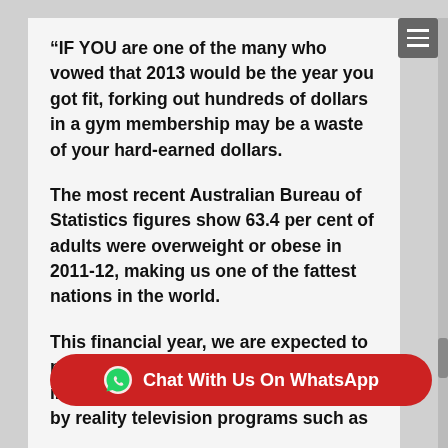“IF YOU are one of the many who vowed that 2013 would be the year you got fit, forking out hundreds of dollars in a gym membership may be a waste of your hard-earned dollars.
The most recent Australian Bureau of Statistics figures show 63.4 per cent of adults were overweight or obese in 2011-12, making us one of the fattest nations in the world.
This financial year, we are expected to pump about $3 billion into the fitness indus... by reality television programs such as
[Figure (other): Red rounded WhatsApp chat button overlay with WhatsApp icon and text 'Chat With Us On WhatsApp']